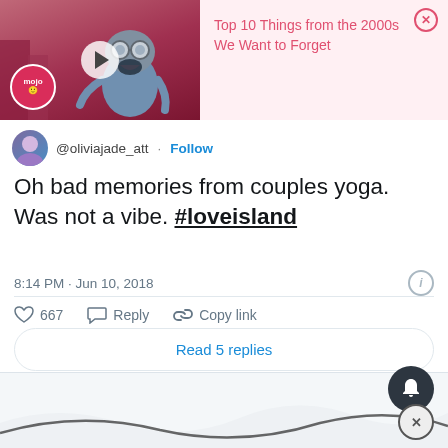[Figure (screenshot): Ad banner: animated character with goggles on a pink/red background with a play button, mojo logo badge, and ad text 'Top 10 Things from the 2000s We Want to Forget']
@oliviajade_att · Follow
Oh bad memories from couples yoga. Was not a vibe. #loveisland
8:14 PM · Jun 10, 2018
667  Reply  Copy link
Read 5 replies